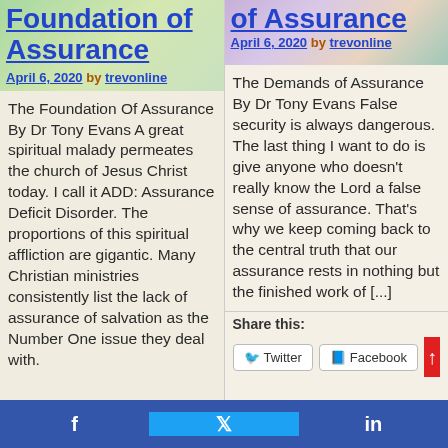Foundation of Assurance
April 6, 2020 by trevonline
The Foundation Of Assurance By Dr Tony Evans A great spiritual malady permeates the church of Jesus Christ today. I call it ADD: Assurance Deficit Disorder. The proportions of this spiritual affliction are gigantic. Many Christian ministries consistently list the lack of assurance of salvation as the Number One issue they deal with.
of Assurance
April 6, 2020 by trevonline
The Demands of Assurance By Dr Tony Evans False security is always dangerous. The last thing I want to do is give anyone who doesn’t really know the Lord a false sense of assurance. That’s why we keep coming back to the central truth that our assurance rests in nothing but the finished work of [...]
Share this:
Twitter  Facebook
f    in